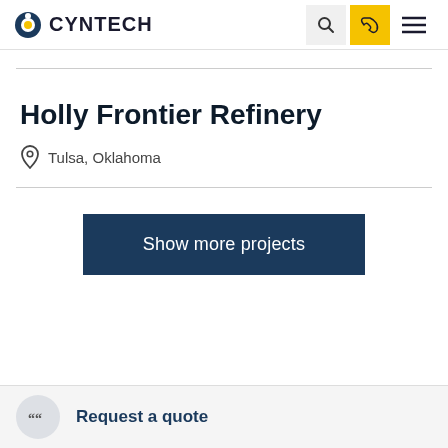CYNTECH
Holly Frontier Refinery
Tulsa, Oklahoma
Show more projects
Request a quote